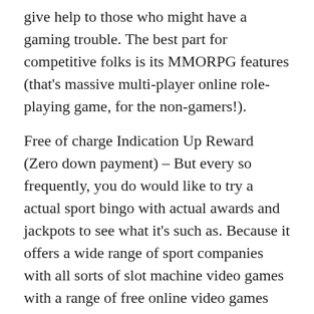give help to those who might have a gaming trouble. The best part for competitive folks is its MMORPG features (that's massive multi-player online role-playing game, for the non-gamers!).
Free of charge Indication Up Reward (Zero down payment) – But every so frequently, you do would like to try a actual sport bingo with actual awards and jackpots to see what it's such as. Because it offers a wide range of sport companies with all sorts of slot machine video games with a range of free online video games incorporated by a group of sport designers. The amount of times the winnings received from free spins must be played